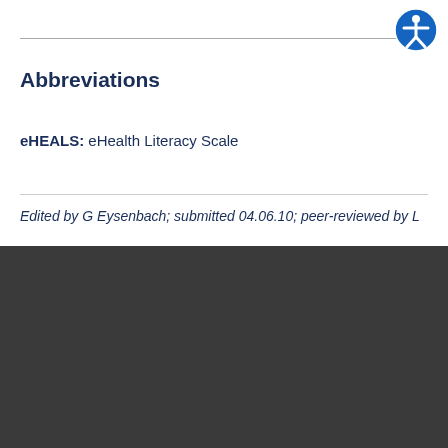Abbreviations
eHEALS: eHealth Literacy Scale
Edited by G Eysenbach; submitted 04.06.10; peer-reviewed by L
Cookie Consent
We use our own cookies and third-party cookies so that we can show you this website and better understand how you use it, with a view to improving the services we offer. If you continue browsing, we consider that you have accepted the cookies.